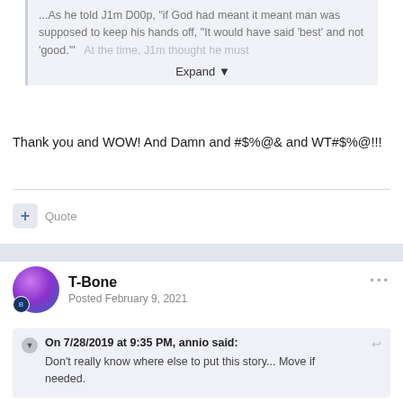...As he told J1m D00p, "if God had meant it meant man was supposed to keep his hands off, "It would have said 'best' and not 'good.'" At the time, J1m thought he must
Expand ▼
Thank you and WOW! And Damn and #$%@& and WT#$%@!!!
+ Quote
T-Bone
Posted February 9, 2021
On 7/28/2019 at 9:35 PM, annio said:
Don't really know where else to put this story... Move if needed.